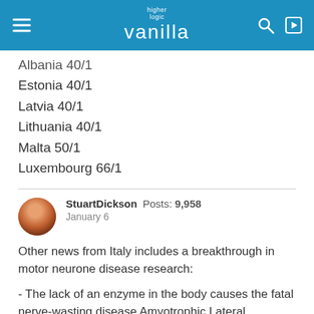higher logic vanilla
Albania 40/1
Estonia 40/1
Latvia 40/1
Lithuania 40/1
Malta 50/1
Luxembourg 66/1
StuartDickson  Posts: 9,958  January 6
Other news from Italy includes a breakthrough in motor neurone disease research:
- The lack of an enzyme in the body causes the fatal nerve-wasting disease Amyotrophic Lateral Sclerosis (ALS) or Lou Gehrig's Disease, an Italian study has shown, raising hope for new treatment options